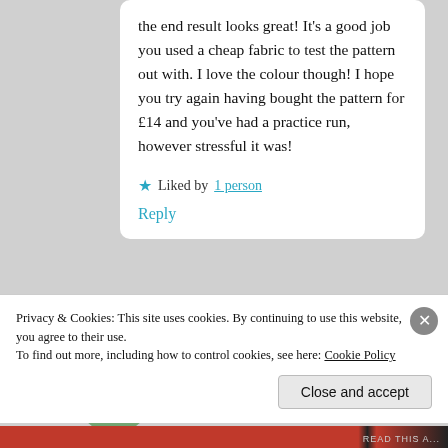the end result looks great! It's a good job you used a cheap fabric to test the pattern out with. I love the colour though! I hope you try again having bought the pattern for £14 and you've had a practice run, however stressful it was!
★ Liked by 1 person
Reply
[Figure (photo): User avatar showing sky and landscape]
Privacy & Cookies: This site uses cookies. By continuing to use this website, you agree to their use.
To find out more, including how to control cookies, see here: Cookie Policy
Close and accept